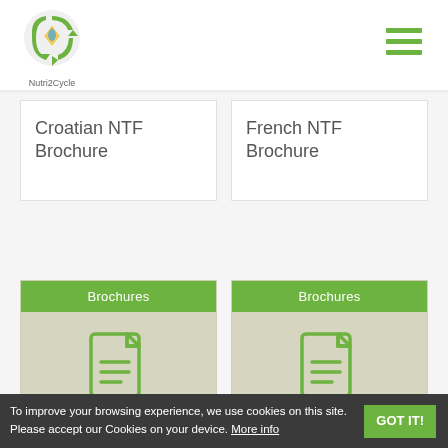Nutri2Cycle
Croatian NTF Brochure
French NTF Brochure
[Figure (illustration): Green document icon with lines representing text, on grey background, under green Brochures header label]
[Figure (illustration): Green document icon with lines representing text, on grey background, under green Brochures header label]
30 09 2020
30 09 2020
Croatian NTF Brochure
French NTF Brochure
To improve your browsing experience, we use cookies on this site. Please accept our Cookies on your device. More info GOT IT!